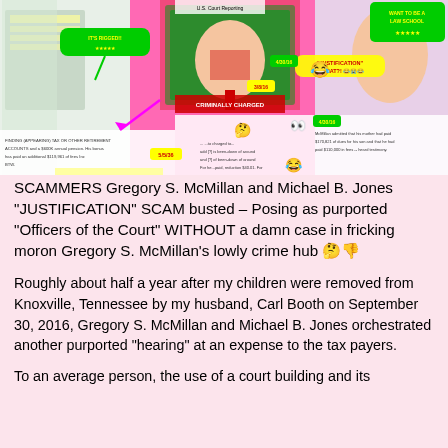[Figure (infographic): Colorful collage on bright pink background with photos of people, documents, emojis, speech bubbles, and text overlays referencing Gregory S. McMillan, Michael B. Jones, court documents, and dollar amounts.]
SCAMMERS Gregory S. McMillan and Michael B. Jones "JUSTIFICATION" SCAM busted – Posing as purported "Officers of the Court" WITHOUT a damn case in fricking moron Gregory S. McMillan's lowly crime hub 🤔👎
Roughly about half a year after my children were removed from Knoxville, Tennessee by my husband, Carl Booth on September 30, 2016, Gregory S. McMillan and Michael B. Jones orchestrated another purported "hearing" at an expense to the tax payers.
To an average person, the use of a court building and its